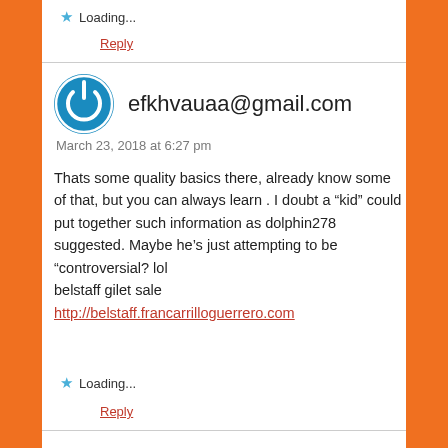Loading...
Reply
efkhvauaa@gmail.com
March 23, 2018 at 6:27 pm
Thats some quality basics there, already know some of that, but you can always learn . I doubt a “kid” could put together such information as dolphin278 suggested. Maybe he’s just attempting to be “controversial? lol
belstaff gilet sale
http://belstaff.francarrilloguerrero.com
Loading...
Reply